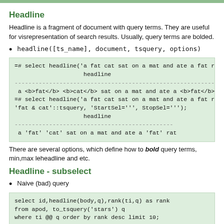Headline
Headline is a fragment of document with query terms. They are useful for visual representation of search results. Usually, query terms are bolded.
headline([ts_name], document, tsquery, options)
[Figure (screenshot): Code block showing SQL headline() function examples with output]
There are several options, which define how to bold query terms, min,max length of headline and etc.
Headline - subselect
Naive (bad) query
[Figure (screenshot): Code block showing SQL select with headline, rank functions]
The result with subselect...